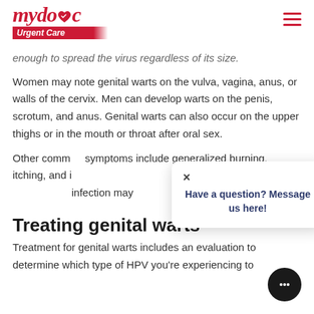mydoc Urgent Care
enough to spread the virus regardless of its size.
Women may note genital warts on the vulva, vagina, anus, or walls of the cervix. Men can develop warts on the penis, scrotum, and anus. Genital warts can also occur on the upper thighs or in the mouth or throat after oral sex.
Other common symptoms include generalized burning, itching, and itching. It can take weeks to months for infection may…
[Figure (screenshot): Popup overlay with close button (×) and message: Have a question? Message us here!]
Treating genital warts
Treatment for genital warts includes an evaluation to determine which type of HPV you're experiencing to